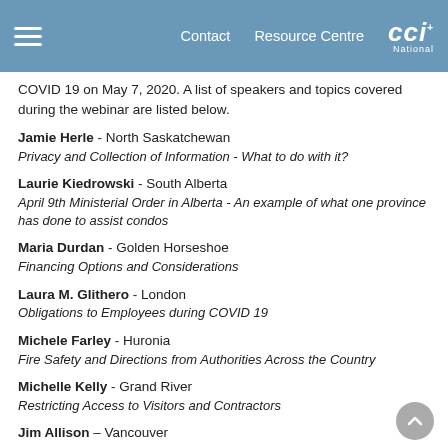Contact   Resource Centre   CCI National
COVID 19 on May 7, 2020. A list of speakers and topics covered during the webinar are listed below.
Jamie Herle - North Saskatchewan
Privacy and Collection of Information - What to do with it?
Laurie Kiedrowski - South Alberta
April 9th Ministerial Order in Alberta - An example of what one province has done to assist condos
Maria Durdan - Golden Horseshoe
Financing Options and Considerations
Laura M. Glithero - London
Obligations to Employees during COVID 19
Michele Farley - Huronia
Fire Safety and Directions from Authorities Across the Country
Michelle Kelly - Grand River
Restricting Access to Visitors and Contractors
Jim Allison – Vancouver